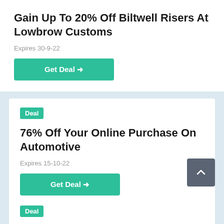Gain Up To 20% Off Biltwell Risers At Lowbrow Customs
Expires 30-9-22
Get Deal →
Deal
76% Off Your Online Purchase On Automotive
Expires 15-10-22
Get Deal →
Deal
Discount Off All Lowbrowcustoms.com